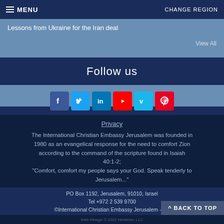MENU   CHANGE REGION
Lessons from Ukraine for the Iran deal
View All
Follow us
[Figure (infographic): Social media icons row: Facebook (blue), Twitter (light blue), LinkedIn (dark blue), YouTube (red), Vimeo (light blue), Pinterest (red)]
Privacy
The International Christian Embassy Jerusalem was founded in 1980 as an evangelical response for the need to comfort Zion according to the command of the scripture found in Isaiah 40:1-2;
"Comfort, comfort my people says your God. Speak tenderly to Jerusalem..."
PO Box 1192, Jerusalem, 91010, Israel
Tel +972 2 539 9700
©International Christian Embassy Jerusalem - NZ
^ BACK TO TOP
Web Design © 2022 Herkimer, LLC